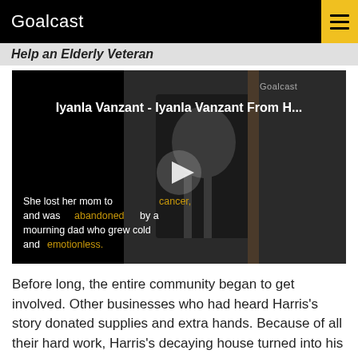Goalcast
Help an Elderly Veteran
[Figure (screenshot): Video player screenshot showing a child in black and white photo with text overlay. Video title: Iyanla Vanzant - Iyanla Vanzant From H... Text overlay reads: She lost her mom to cancer, and was abandoned by a mourning dad who grew cold and emotionless.]
Before long, the entire community began to get involved. Other businesses who had heard Harris's story donated supplies and extra hands. Because of all their hard work, Harris's decaying house turned into his dream home.